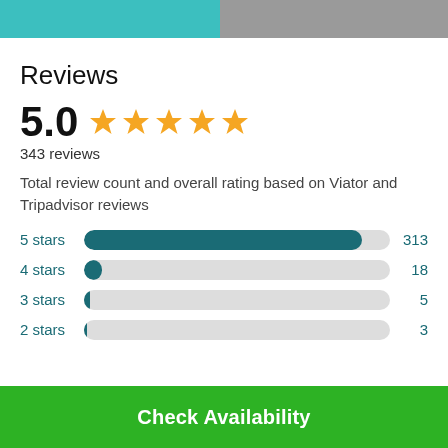[Figure (photo): Top portion showing teal water image on left and gray image on right]
Reviews
5.0 ★★★★★
343 reviews
Total review count and overall rating based on Viator and Tripadvisor reviews
[Figure (bar-chart): Star rating distribution]
Check Availability